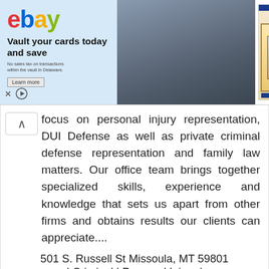[Figure (screenshot): eBay advertisement banner showing 'Vault your cards today and save' with trading card images on the right]
focus on personal injury representation, DUI Defense as well as private criminal defense representation and family law matters. Our office team brings together specialized skills, experience and knowledge that sets us apart from other firms and obtains results our clients can appreciate....
501 S. Russell St Missoula, MT 59801
| Criminal | Personal Injury |
Judnich Law profile